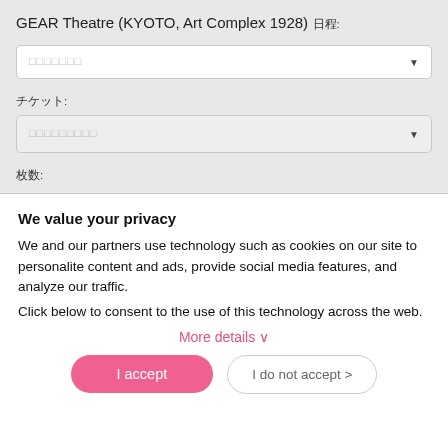GEAR Theatre (KYOTO, Art Complex 1928)
日程:
プルダウン (dropdown placeholder)
チケット:
プルダウン (dropdown placeholder)
枚数:
We value your privacy
We and our partners use technology such as cookies on our site to personalite content and ads, provide social media features, and analyze our traffic.
Click below to consent to the use of this technology across the web.
More details ∨
I accept
I do not accept >